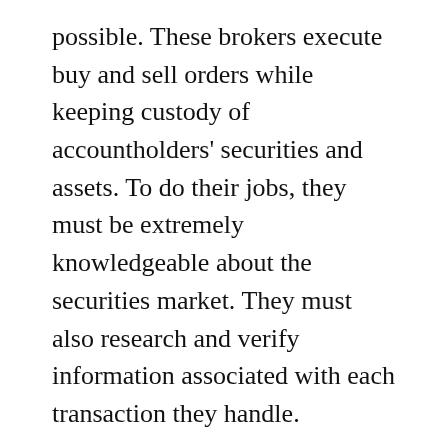possible. These brokers execute buy and sell orders while keeping custody of accountholders' securities and assets. To do their jobs, they must be extremely knowledgeable about the securities market. They must also research and verify information associated with each transaction they handle.
Clearing brokers work with clearing corporations for the correct handling and transfer of funds during each buy or sell order. They're the only brokers who are authorized to clear transactions. In a securities exchange, a clearing broker clears trades for multiple broker-dealers within a securities exchange.